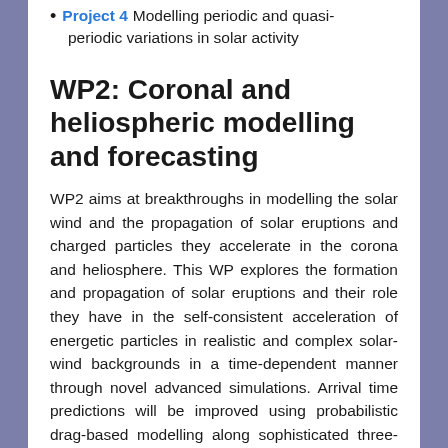Project 4 Modelling periodic and quasi-periodic variations in solar activity
WP2: Coronal and heliospheric modelling and forecasting
WP2 aims at breakthroughs in modelling the solar wind and the propagation of solar eruptions and charged particles they accelerate in the corona and heliosphere. This WP explores the formation and propagation of solar eruptions and their role they have in the self-consistent acceleration of energetic particles in realistic and complex solar-wind backgrounds in a time-dependent manner through novel advanced simulations. Arrival time predictions will be improved using probabilistic drag-based modelling along sophisticated three-dimensional magnetohydrodynamic simulations.